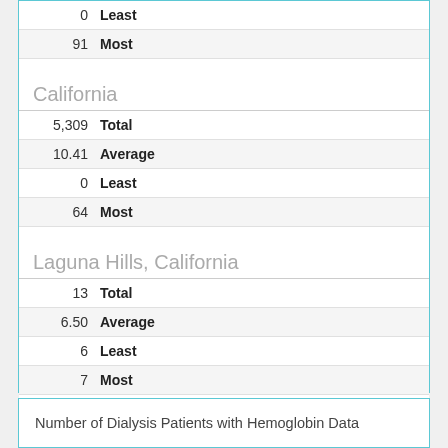| Value | Label |
| --- | --- |
| 0 | Least |
| 91 | Most |
California
| Value | Label |
| --- | --- |
| 5,309 | Total |
| 10.41 | Average |
| 0 | Least |
| 64 | Most |
Laguna Hills, California
| Value | Label |
| --- | --- |
| 13 | Total |
| 6.50 | Average |
| 6 | Least |
| 7 | Most |
⊞ Data Availability
Number of Dialysis Patients with Hemoglobin Data